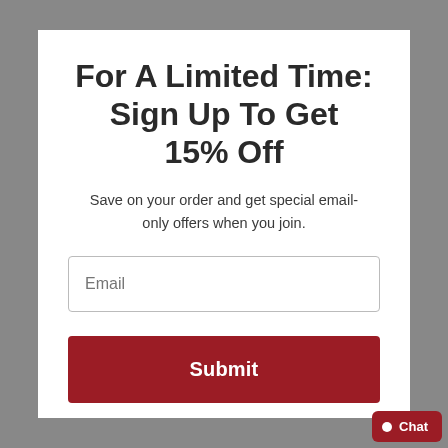For A Limited Time: Sign Up To Get 15% Off
Save on your order and get special email-only offers when you join.
Email
Submit
Chat